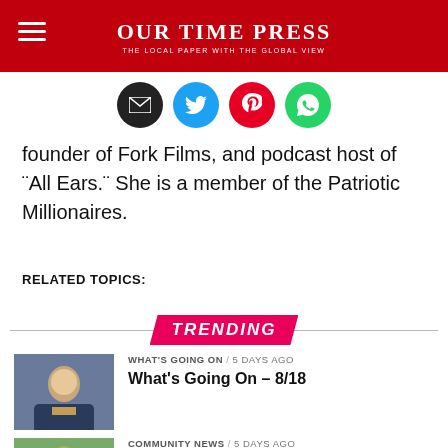Our Time Press — The Local Paper With The Global View
[Figure (infographic): Social sharing icons: email (black), Twitter (blue), Pinterest (red), WhatsApp (green)]
founder of Fork Films, and podcast host of "All Ears." She is a member of the Patriotic Millionaires.
RELATED TOPICS:
TRENDING
[Figure (photo): Man in suit with yellow tie smiling]
WHAT'S GOING ON / 5 days ago
What's Going On – 8/18
[Figure (photo): Outdoor community scene with people]
COMMUNITY NEWS / 5 days ago
Pursuing Excellence